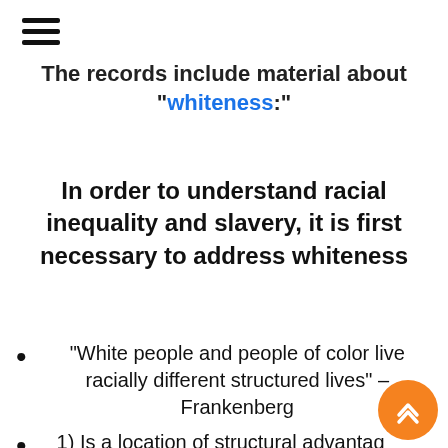The records include material about “whiteness:”
In order to understand racial inequality and slavery, it is first necessary to address whiteness
“White people and people of color live racially different structured lives” – Frankenberg
1) Is a location of structural advantage of race privilege.